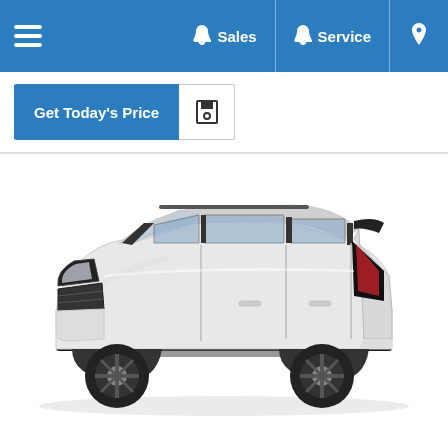Navigation bar with hamburger menu, Sales, Service, and location icon
Get Today's Price
[Figure (photo): Side profile view of a white Chevrolet Trax SUV with black wheels and black roof trim on a white background]